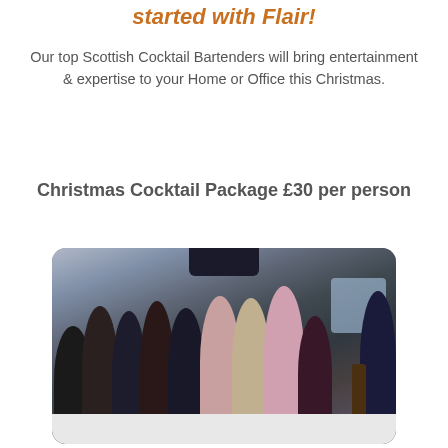started with Flair!
Our top Scottish Cocktail Bartenders will bring entertainment & expertise to your Home or Office this Christmas.
Christmas Cocktail Package £30 per person
[Figure (photo): Group photo of people at a cocktail bar event, several women in party attire and a man in a suit with a tie, at a white bar counter, with a TV screen visible in the background.]